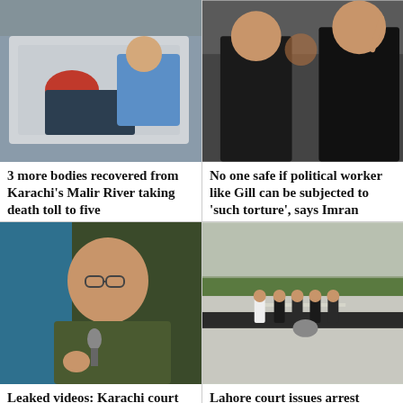[Figure (photo): Man lying inside a car, flood rescue scene, Karachi Malir River]
[Figure (photo): Two men in black clothes, one pointing finger upward, political rally]
3 more bodies recovered from Karachi's Malir River taking death toll to five
No one safe if political worker like Gill can be subjected to 'such torture', says Imran
[Figure (photo): Man with glasses speaking into microphone, Aamir Liaquat]
[Figure (photo): Aerial view of security forces standing outside building, Lahore]
Leaked videos: Karachi court dismisses plea against Aamir
Lahore court issues arrest warrants for 12 PML-N leaders